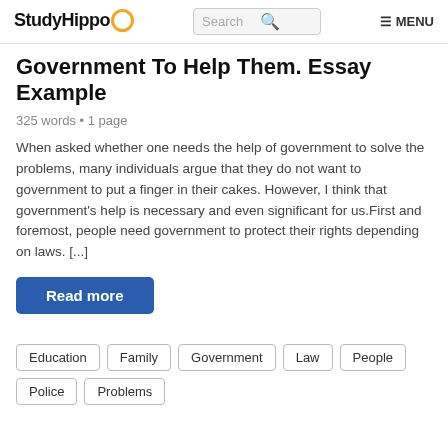StudyHippo  Search  MENU
Government To Help Them. Essay Example
325 words • 1 page
When asked whether one needs the help of government to solve the problems, many individuals argue that they do not want to government to put a finger in their cakes. However, I think that government's help is necessary and even significant for us.First and foremost, people need government to protect their rights depending on laws. [...]
Read more
Education
Family
Government
Law
People
Police
Problems